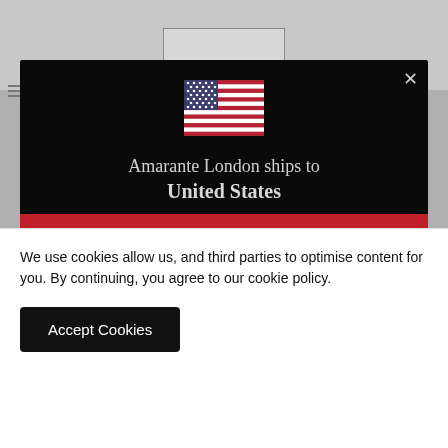[Figure (screenshot): US flag emoji displayed in modal dialog]
Amarante London ships to United States
Shop in USD $
Get shipping options for United States
We use cookies allow us, and third parties to optimise content for you. By continuing, you agree to our cookie policy.
Accept Cookies